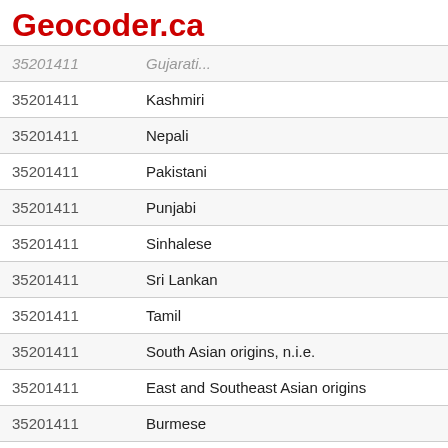Geocoder.ca
| Code | Name |
| --- | --- |
| 35201411 | Gujarati |
| 35201411 | Kashmiri |
| 35201411 | Nepali |
| 35201411 | Pakistani |
| 35201411 | Punjabi |
| 35201411 | Sinhalese |
| 35201411 | Sri Lankan |
| 35201411 | Tamil |
| 35201411 | South Asian origins, n.i.e. |
| 35201411 | East and Southeast Asian origins |
| 35201411 | Burmese |